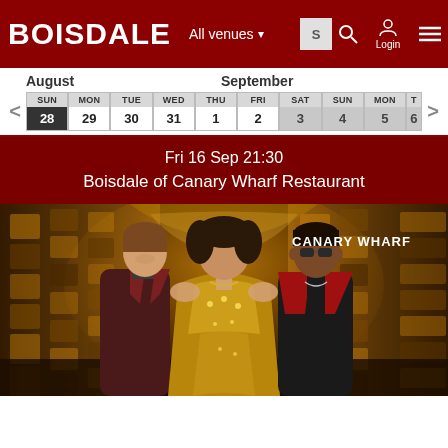BOISDALE — All venues — Login
| SUN | MON | TUE | WED | THU | FRI | SAT | SUN | MON | TUE |
| --- | --- | --- | --- | --- | --- | --- | --- | --- | --- |
| 28 | 29 | 30 | 31 | 1 | 2 | 3 | 4 | 5 | 6 |
Fri 16 Sep 21:30
Boisdale of Canary Wharf Restaurant
[Figure (photo): Three performers standing in an ornate hallway with golden mosaic walls. A woman in a gold sequined dress stands in the center, flanked by a man in a dark red velvet jacket on the left and a man in a red blazer with sunglasses on the right. Text overlay reads CANARY WHARF.]